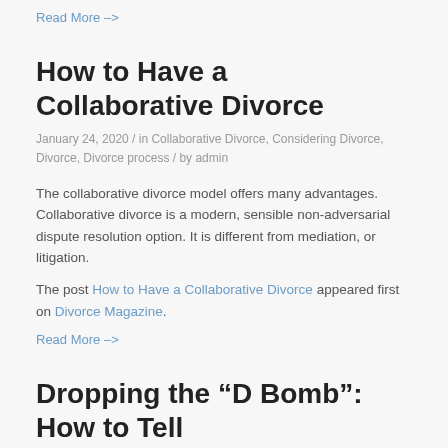Read More –>
How to Have a Collaborative Divorce
January 24, 2020 / in Collaborative Divorce, Considering Divorce, Divorce, Divorce process / by admin
The collaborative divorce model offers many advantages. Collaborative divorce is a modern, sensible non-adversarial dispute resolution option. It is different from mediation, or litigation.
The post How to Have a Collaborative Divorce appeared first on Divorce Magazine.
Read More –>
Dropping the “D Bomb”: How to Tell